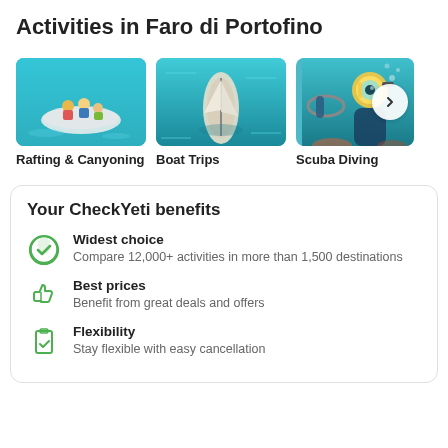Activities in Faro di Portofino
[Figure (photo): Three activity cards showing Rafting & Canyoning (people on inflatable raft in turquoise water), Boat Trips (aerial view of sailboat in turquoise water), and Scuba Diving (diver underwater) with a next arrow button]
Your CheckYeti benefits
Widest choice — Compare 12,000+ activities in more than 1,500 destinations
Best prices — Benefit from great deals and offers
Flexibility — Stay flexible with easy cancellation